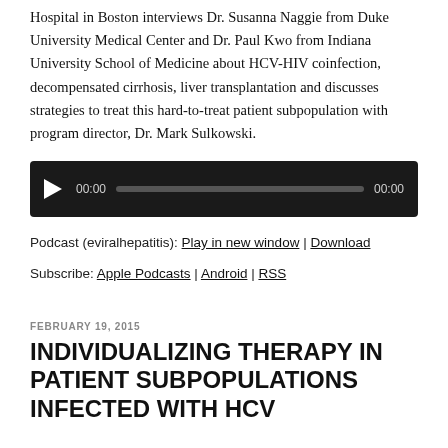Hospital in Boston interviews Dr. Susanna Naggie from Duke University Medical Center and Dr. Paul Kwo from Indiana University School of Medicine about HCV-HIV coinfection, decompensated cirrhosis, liver transplantation and discusses strategies to treat this hard-to-treat patient subpopulation with program director, Dr. Mark Sulkowski.
[Figure (other): Audio player widget with play button, time display showing 00:00, a progress bar, and end time 00:00 on a dark background.]
Podcast (eviralhepatitis): Play in new window | Download
Subscribe: Apple Podcasts | Android | RSS
FEBRUARY 19, 2015
INDIVIDUALIZING THERAPY IN PATIENT SUBPOPULATIONS INFECTED WITH HCV